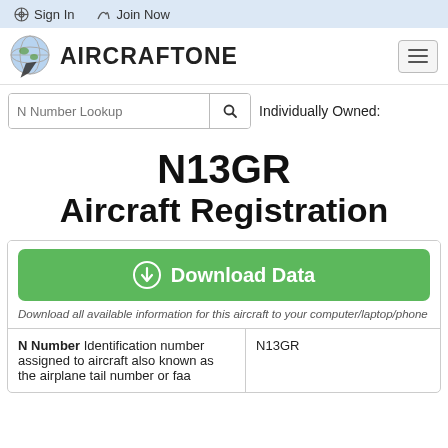Sign In   Join Now
[Figure (logo): AircraftOne globe logo with airplane and text AIRCRAFTONE]
N Number Lookup   Individually Owned:
N13GR
Aircraft Registration
Download Data
Download all available information for this aircraft to your computer/laptop/phone
| Field | Value |
| --- | --- |
| N Number Identification number assigned to aircraft also known as the airplane tail number or faa | N13GR |